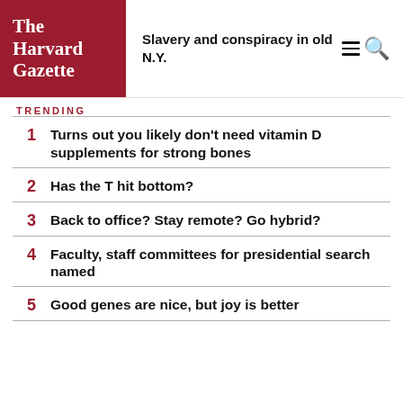The Harvard Gazette
Slavery and conspiracy in old N.Y.
TRENDING
1 Turns out you likely don't need vitamin D supplements for strong bones
2 Has the T hit bottom?
3 Back to office? Stay remote? Go hybrid?
4 Faculty, staff committees for presidential search named
5 Good genes are nice, but joy is better